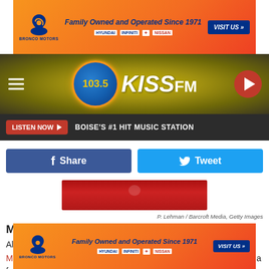[Figure (other): Bronco Motors advertisement banner - Family Owned and Operated Since 1971 with Hyundai, Infiniti, Mitsubishi, Nissan logos and VISIT US button]
[Figure (other): 103.5 KISS FM radio station header with logo bubble, hamburger menu, and play button]
LISTEN NOW ▶  BOISE'S #1 HIT MUSIC STATION
Share
Tweet
[Figure (photo): Partial photo of Megan Thee Stallion on red background, cropped]
P. Lehman / Barcroft Media, Getty Images
Megan Thee Stallion a.k.a Tina Snow
Also Known As: Suga
Megan Thee Stallion's career has been on an upward trajectory for a few years now, and her most popular alter
[Figure (other): Bronco Motors advertisement banner at bottom - Family Owned and Operated Since 1971]